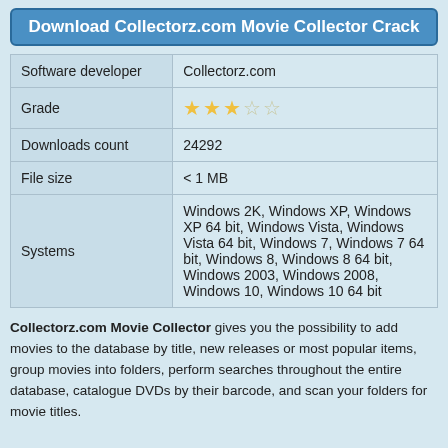Download Collectorz.com Movie Collector Crack
| Software developer | Collectorz.com |
| Grade | ★★★☆☆ |
| Downloads count | 24292 |
| File size | < 1 MB |
| Systems | Windows 2K, Windows XP, Windows XP 64 bit, Windows Vista, Windows Vista 64 bit, Windows 7, Windows 7 64 bit, Windows 8, Windows 8 64 bit, Windows 2003, Windows 2008, Windows 10, Windows 10 64 bit |
Collectorz.com Movie Collector gives you the possibility to add movies to the database by title, new releases or most popular items, group movies into folders, perform searches throughout the entire database, catalogue DVDs by their barcode, and scan your folders for movie titles.